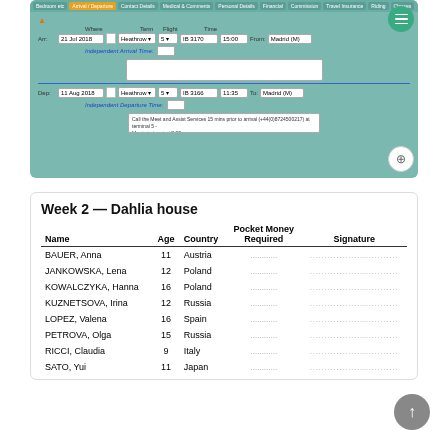[Figure (screenshot): Software interface screenshot showing arrival/departure form with tab navigation bar at top (Bedroom etc, Arrival/Departure, Contact Details, Medical & Comments, Personal Details, Financial, Commission, Travel Insurance, Riding, Classes), a teal/green background form with fields for arrival date (21 Jul 2018), airport (Heathrow), flight (IB 3170), time (15:00), From location (Madrid (M)), Independent Arrival Time field, a text area, departure fields (11 Aug 2018, Heathrow, IB 3166, 11:35, To: Madrid (M)), Independent Departure Time field, and a notes text area with instructions about Meet and Assist Service. Green menu hamburger button top right, magnify zoom button bottom right.]
Week 2 — Dahlia house
| Name | Age | Country | Pocket Money Required | Signature |
| --- | --- | --- | --- | --- |
| BAUER, Anna | 11 | Austria | ............ | .............................. |
| JANKOWSKA, Lena | 12 | Poland | ............ | .............................. |
| KOWALCZYKA, Hanna | 16 | Poland | ............ | .............................. |
| KUZNETSOVA, Irina | 12 | Russia | ............ | .............................. |
| LOPEZ, Valena | 16 | Spain | ............ | .............................. |
| PETROVA, Olga | 15 | Russia | ............ | .............................. |
| RICCI, Claudia | 9 | Italy | ............ | .............................. |
| SATO, Yui | 11 | Japan | ............ | .............................. |